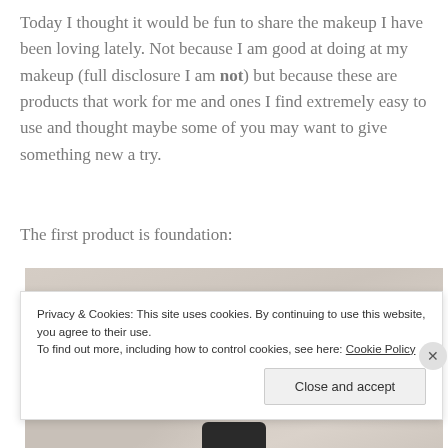Today I thought it would be fun to share the makeup I have been loving lately. Not because I am good at doing at my makeup (full disclosure I am not) but because these are products that work for me and ones I find extremely easy to use and thought maybe some of you may want to give something new a try.
The first product is foundation:
[Figure (photo): Photo of a makeup foundation bottle on a light stone/marble surface. The top portion of the bottle cap is visible at the bottom of the image.]
Privacy & Cookies: This site uses cookies. By continuing to use this website, you agree to their use.
To find out more, including how to control cookies, see here: Cookie Policy
Close and accept